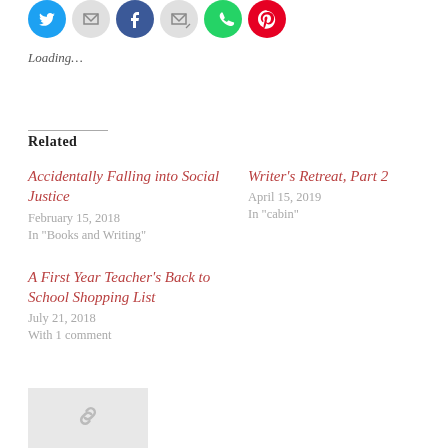[Figure (other): Row of circular social media sharing icons: Twitter (blue), email (grey), Facebook (blue), email/forward (grey), WhatsApp (green), Pinterest (red)]
Loading…
Related
Accidentally Falling into Social Justice
February 15, 2018
In "Books and Writing"
Writer's Retreat, Part 2
April 15, 2019
In "cabin"
A First Year Teacher's Back to School Shopping List
July 21, 2018
With 1 comment
[Figure (other): Thumbnail placeholder box with a grey background and a chain/link icon in the center]